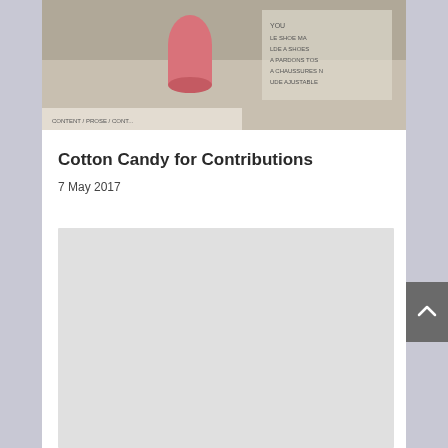[Figure (photo): A photograph showing items on a surface, including what appears to be a pink container/bottle and some papers or labels with text.]
Cotton Candy for Contributions
7 May 2017
[Figure (photo): A large light gray placeholder image area below the article title and date.]